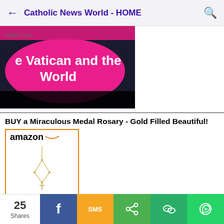Catholic News World - HOME
[Figure (illustration): Partial banner image showing text 'e Vatican and the World' with pink bubble overlay on dark background]
BUY a Miraculous Medal Rosary - Gold Filled Beautiful!
[Figure (screenshot): Amazon product listing: Miabella 925 Sterling Silver... $24.90 Prime — showing gold rosary necklace]
25 Shares
f SMS share WeChat WhatsApp